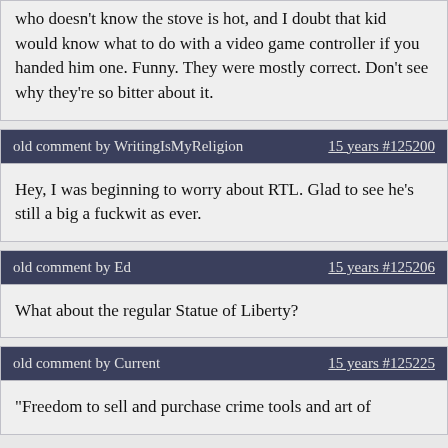who doesn't know the stove is hot, and I doubt that kid would know what to do with a video game controller if you handed him one. Funny. They were mostly correct. Don't see why they're so bitter about it.
old comment by WritingIsMyReligion   15 years #125200
Hey, I was beginning to worry about RTL. Glad to see he's still a big a fuckwit as ever.
old comment by Ed   15 years #125206
What about the regular Statue of Liberty?
old comment by Current   15 years #125225
"Freedom to sell and purchase crime tools and art of